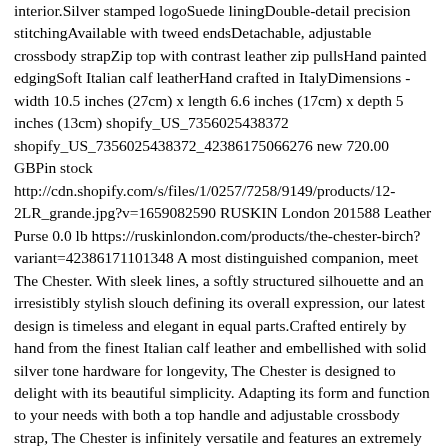interior.Silver stamped logoSuede liningDouble-detail precision stitchingAvailable with tweed endsDetachable, adjustable crossbody strapZip top with contrast leather zip pullsHand painted edgingSoft Italian calf leatherHand crafted in ItalyDimensions - width 10.5 inches (27cm) x length 6.6 inches (17cm) x depth 5 inches (13cm) shopify_US_7356025438372 shopify_US_7356025438372_42386175066276 new 720.00 GBPin stock http://cdn.shopify.com/s/files/1/0257/7258/9149/products/12-2LR_grande.jpg?v=1659082590 RUSKIN London 201588 Leather Purse 0.0 lb https://ruskinlondon.com/products/the-chester-birch?variant=42386171101348 A most distinguished companion, meet The Chester. With sleek lines, a softly structured silhouette and an irresistibly stylish slouch defining its overall expression, our latest design is timeless and elegant in equal parts.Crafted entirely by hand from the finest Italian calf leather and embellished with solid silver tone hardware for longevity, The Chester is designed to delight with its beautiful simplicity. Adapting its form and function to your needs with both a top handle and adjustable crossbody strap, The Chester is infinitely versatile and features an extremely soft and surprisingly spacious interior.Silver stamped logoSuede liningDouble-detail precision stitchingAvailable with tweed endsDetachable, adjustable crossbody strapZip top with contrast leather zip pullsHand painted edgingSoft Italian calf leatherHand crafted in ItalyDimensions - width 10.5 inches (27cm) x length 6.6 inches (17cm) x depth 5 inches (13cm)